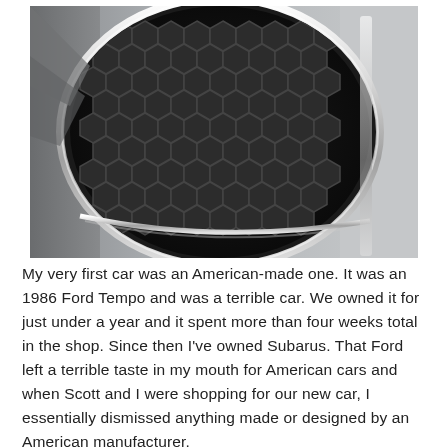[Figure (photo): Close-up photograph of a car's front grille with a hexagonal mesh pattern, chrome trim, and silver/gray bodywork visible on the right side.]
My very first car was an American-made one. It was an 1986 Ford Tempo and was a terrible car. We owned it for just under a year and it spent more than four weeks total in the shop. Since then I've owned Subarus. That Ford left a terrible taste in my mouth for American cars and when Scott and I were shopping for our new car, I essentially dismissed anything made or designed by an American manufacturer.